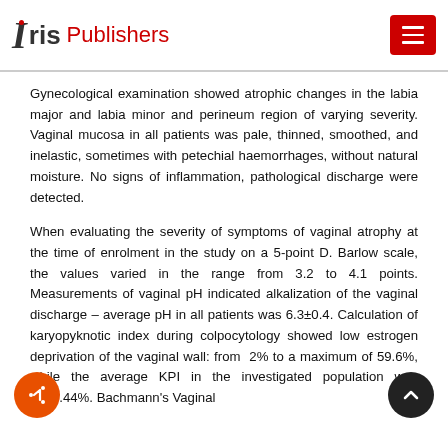Iris Publishers
Gynecological examination showed atrophic changes in the labia major and labia minor and perineum region of varying severity. Vaginal mucosa in all patients was pale, thinned, smoothed, and inelastic, sometimes with petechial haemorrhages, without natural moisture. No signs of inflammation, pathological discharge were detected.
When evaluating the severity of symptoms of vaginal atrophy at the time of enrolment in the study on a 5-point D. Barlow scale, the values varied in the range from 3.2 to 4.1 points. Measurements of vaginal pH indicated alkalization of the vaginal discharge – average pH in all patients was 6.3±0.4. Calculation of karyopyknotic index during colpocytology showed low estrogen deprivation of the vaginal wall: from 2% to a maximum of 59.6%, while the average KPI in the investigated population was 38±3.44%. Bachmann's Vaginal